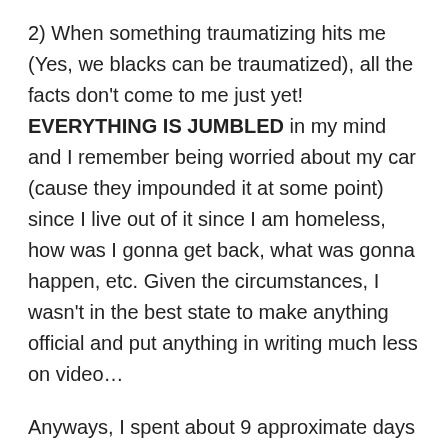2) When something traumatizing hits me (Yes, we blacks can be traumatized), all the facts don't come to me just yet! EVERYTHING IS JUMBLED in my mind and I remember being worried about my car (cause they impounded it at some point) since I live out of it since I am homeless, how was I gonna get back, what was gonna happen, etc. Given the circumstances, I wasn't in the best state to make anything official and put anything in writing much less on video...
Anyways, I spent about 9 approximate days in county. When I went before the judge, of course, the 314pc "indecent exposure" charge got thrown out but NOT THE 243pc – battery on a cop (they made that one STICK!). I neglected to tell the judge in court that I had a court date on 9-11. Looking back, I am wondering if that